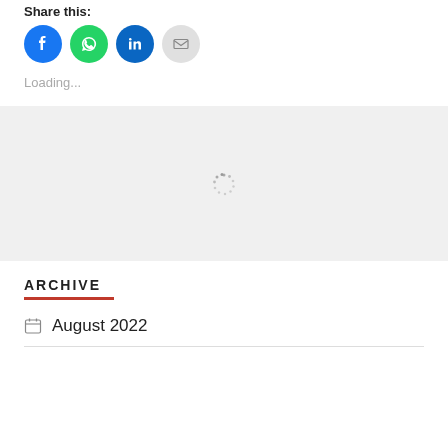Share this:
[Figure (illustration): Four social share icon circles: Facebook (blue), WhatsApp (green), LinkedIn (teal/blue), Email (gray)]
Loading...
[Figure (illustration): Loading spinner in gray section]
ARCHIVE
August 2022